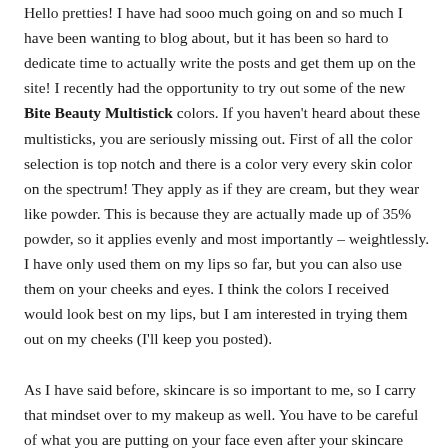Hello pretties! I have had sooo much going on and so much I have been wanting to blog about, but it has been so hard to dedicate time to actually write the posts and get them up on the site! I recently had the opportunity to try out some of the new Bite Beauty Multistick colors. If you haven't heard about these multisticks, you are seriously missing out. First of all the color selection is top notch and there is a color very every skin color on the spectrum! They apply as if they are cream, but they wear like powder. This is because they are actually made up of 35% powder, so it applies evenly and most importantly – weightlessly. I have only used them on my lips so far, but you can also use them on your cheeks and eyes. I think the colors I received would look best on my lips, but I am interested in trying them out on my cheeks (I'll keep you posted).

As I have said before, skincare is so important to me, so I carry that mindset over to my makeup as well. You have to be careful of what you are putting on your face even after your skincare routine. If you wash your face and then apply makeup filled with chemicals and parabens, what is the point? Seems kind of counterproductive, right? When I read that the multistick is silicone free, paraben free, sulfate free, phthalates